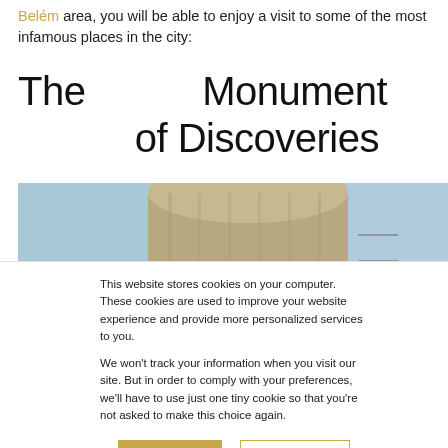Belém area, you will be able to enjoy a visit to some of the most infamous places in the city:
The Monument of Discoveries
[Figure (photo): Close-up photo of the Monument of Discoveries in Lisbon, showing the stone monument structure against a blue sky, with a bird perched on a figure at the left side.]
This website stores cookies on your computer. These cookies are used to improve your website experience and provide more personalized services to you.

We won't track your information when you visit our site. But in order to comply with your preferences, we'll have to use just one tiny cookie so that you're not asked to make this choice again.